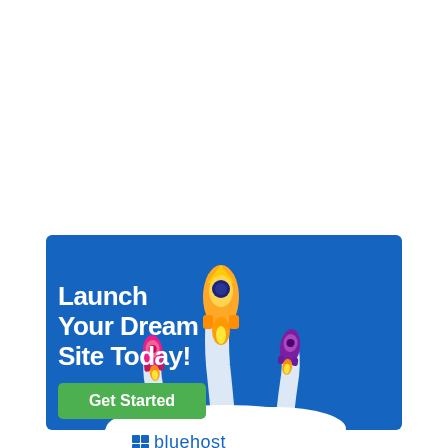[Figure (illustration): Bluehost advertisement banner on blue background featuring three cartoon rockets launching with white smoke clouds, text 'Launch Your Dream Site Today!' in white, a green 'Get Started' button, and the Bluehost logo with grid icon at the bottom.]